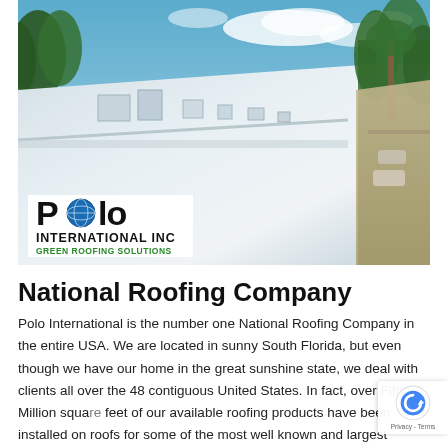[Figure (photo): Aerial view of a large flat commercial roof with white coating, HVAC units, and surrounding trees and road. Polo International Inc logo overlay in bottom left corner.]
National Roofing Company
Polo International is the number one National Roofing Company in the entire USA. We are located in sunny South Florida, but even though we have our home in the great sunshine state, we deal with clients all over the 48 contiguous United States. In fact, over Fifty Million square feet of our available roofing products have been installed on roofs for some of the most well known and largest